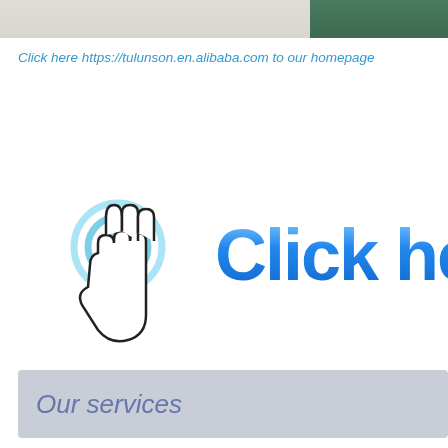[Figure (photo): Two product photos side by side at the top of the page — left image shows a light grey/beige surface, right image shows a dark green surface]
Click here https://tulunson.en.alibaba.com to our homepage
[Figure (illustration): A large 'Click here' button graphic with a pointing hand cursor icon on the left and bold blue gradient text reading 'Click here h' on the right (text continues off-page)]
Our services